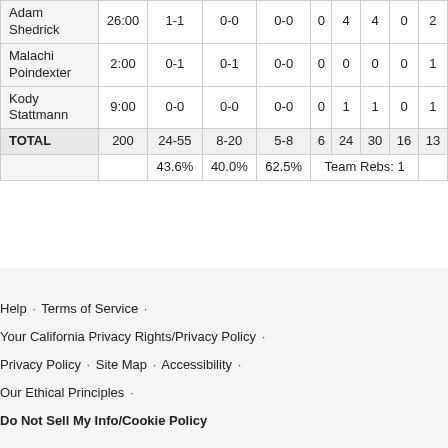| Player | MIN | FG | 3PT | FT | OREB | DREB | REB | AST | PF |
| --- | --- | --- | --- | --- | --- | --- | --- | --- | --- |
| Adam Shedrick | 26:00 | 1-1 | 0-0 | 0-0 | 0 | 4 | 4 | 0 | 2 |
| Malachi Poindexter | 2:00 | 0-1 | 0-1 | 0-0 | 0 | 0 | 0 | 0 | 1 |
| Kody Stattmann | 9:00 | 0-0 | 0-0 | 0-0 | 0 | 1 | 1 | 0 | 1 |
| TOTAL | 200 | 24-55 | 8-20 | 5-8 | 6 | 24 | 30 | 16 | 13 |
|  |  | 43.6% | 40.0% | 62.5% | Team Rebs: 1 |  |  |  |  |
Help · Terms of Service · Your California Privacy Rights/Privacy Policy · Privacy Policy · Site Map · Accessibility · Our Ethical Principles · Do Not Sell My Info/Cookie Policy